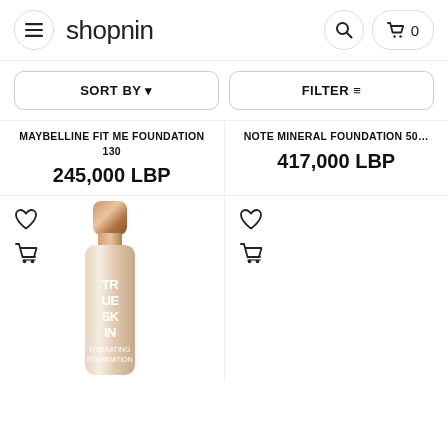shopnin — menu, search, cart (0)
SORT BY ▾
FILTER ≡
MAYBELLINE FIT ME FOUNDATION 130
245,000 LBP
NOTE MINERAL FOUNDATION 50...
417,000 LBP
[Figure (photo): Catrice True Skin Hydrating Foundation bottle with rose-gold cap, beige/nude shade]
[Figure (photo): Second product cell (empty/loading)]